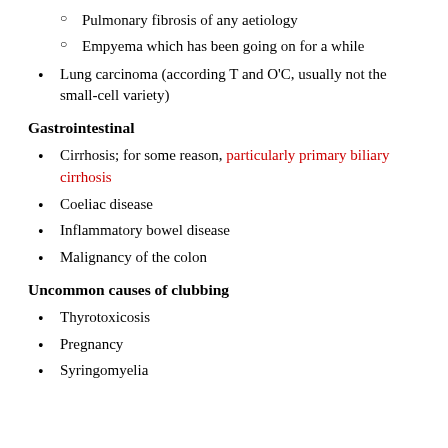Pulmonary fibrosis of any aetiology
Empyema which has been going on for a while
Lung carcinoma (according T and O'C, usually not the small-cell variety)
Gastrointestinal
Cirrhosis; for some reason, particularly primary biliary cirrhosis
Coeliac disease
Inflammatory bowel disease
Malignancy of the colon
Uncommon causes of clubbing
Thyrotoxicosis
Pregnancy
Syringomyelia